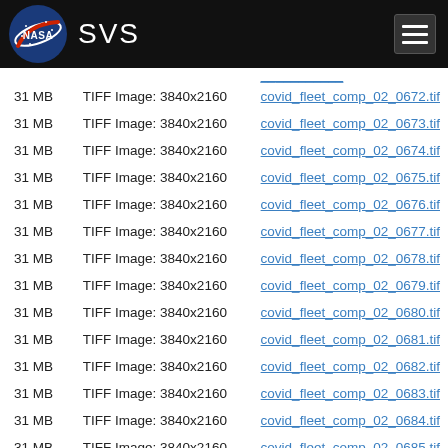NASA SVS
| Size | Type | Filename |
| --- | --- | --- |
| 31 MB | TIFF Image: 3840x2160 | covid_fleet_comp_02_0672.tif |
| 31 MB | TIFF Image: 3840x2160 | covid_fleet_comp_02_0673.tif |
| 31 MB | TIFF Image: 3840x2160 | covid_fleet_comp_02_0674.tif |
| 31 MB | TIFF Image: 3840x2160 | covid_fleet_comp_02_0675.tif |
| 31 MB | TIFF Image: 3840x2160 | covid_fleet_comp_02_0676.tif |
| 31 MB | TIFF Image: 3840x2160 | covid_fleet_comp_02_0677.tif |
| 31 MB | TIFF Image: 3840x2160 | covid_fleet_comp_02_0678.tif |
| 31 MB | TIFF Image: 3840x2160 | covid_fleet_comp_02_0679.tif |
| 31 MB | TIFF Image: 3840x2160 | covid_fleet_comp_02_0680.tif |
| 31 MB | TIFF Image: 3840x2160 | covid_fleet_comp_02_0681.tif |
| 31 MB | TIFF Image: 3840x2160 | covid_fleet_comp_02_0682.tif |
| 31 MB | TIFF Image: 3840x2160 | covid_fleet_comp_02_0683.tif |
| 31 MB | TIFF Image: 3840x2160 | covid_fleet_comp_02_0684.tif |
| 31 MB | TIFF Image: 3840x2160 | covid_fleet_comp_02_0685.tif |
| 31 MB | TIFF Image: 3840x2160 | covid_fleet_comp_02_0686.tif |
| 31 MB | TIFF Image: 3840x2160 | covid_fleet_comp_02_0687.tif |
| 31 MB | TIFF Image: 3840x2160 | covid_fleet_comp_02_0688.tif |
| 31 MB | TIFF Image: 3840x2160 | covid_fleet_comp_02_0689.tif |
| 31 MB | TIFF Image: 3840x2160 | covid_fleet_comp_02_0690.tif |